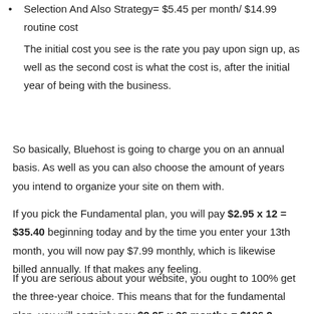Selection And Also Strategy= $5.45 per month/ $14.99 routine cost
The initial cost you see is the rate you pay upon sign up, as well as the second cost is what the cost is, after the initial year of being with the business.
So basically, Bluehost is going to charge you on an annual basis. As well as you can also choose the amount of years you intend to organize your site on them with.
If you pick the Fundamental plan, you will pay $2.95 x 12 = $35.40 beginning today and by the time you enter your 13th month, you will now pay $7.99 monthly, which is likewise billed annually. If that makes any feeling.
If you are serious about your website, you ought to 100% get the three-year choice. This means that for the fundamental plan, you will certainly pay $2.95 x 36 months = $106.2.